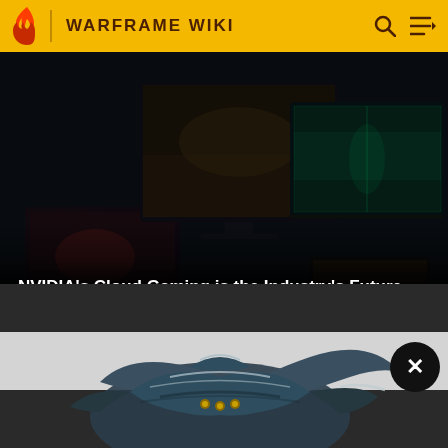WARFRAME WIKI
[Figure (screenshot): NVIDIA Cloud Gaming advertisement banner showing multiple gaming monitors arranged in a dark scene with game footage displayed on screens. Text overlay reads 'NVIDIA's Cloud Gaming is the Industry's Future' and 'Sponsored by NVIDIA'.]
[Figure (photo): Warframe game item — a dark teal colored armored helmet or shoulder piece with intricate details, photographed against a light grey to dark background. A circular close/dismiss button with X symbol appears in the upper right corner.]